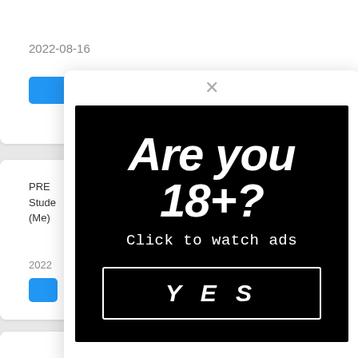2022-08-16
[Figure (screenshot): Background webpage with date 2022-08-16, a blue button partially visible, and card content showing PRED... Stude... (Me)... 2022... with blue Play button]
[Figure (screenshot): Age verification modal overlay with close X button, black ad box reading 'Are you 18+? Click to watch ads' with a YES button]